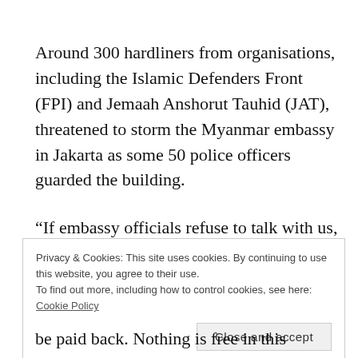Around 300 hardliners from organisations, including the Islamic Defenders Front (FPI) and Jemaah Anshorut Tauhid (JAT), threatened to storm the Myanmar embassy in Jakarta as some 50 police officers guarded the building.
“If embassy officials refuse to talk with us, I demand all of you break into the building and turn it upside down,”
Privacy & Cookies: This site uses cookies. By continuing to use this website, you agree to their use.
To find out more, including how to control cookies, see here: Cookie Policy
[Close and accept]
be paid back. Nothing is free in this world,” the man